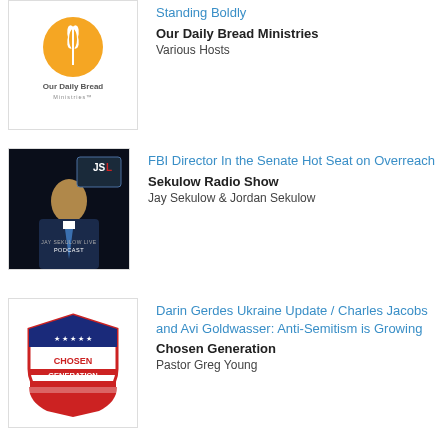[Figure (logo): Our Daily Bread Ministries logo — orange circle with wheat/leaf icon, text 'Our Daily Bread Ministries' below]
Standing Boldly
Our Daily Bread Ministries
Various Hosts
[Figure (photo): Jay Sekulow Live Podcast cover — man in suit and blue tie, JSL logo with red L, text 'JAY SEKULOW LIVE PODCAST' on dark background]
FBI Director In the Senate Hot Seat on Overreach
Sekulow Radio Show
Jay Sekulow & Jordan Sekulow
[Figure (logo): Chosen Generation logo — shield with CHOSEN GENERATION text, American flag/stars and stripes motif, red white and blue]
Darin Gerdes Ukraine Update / Charles Jacobs and Avi Goldwasser: Anti-Semitism is Growing
Chosen Generation
Pastor Greg Young